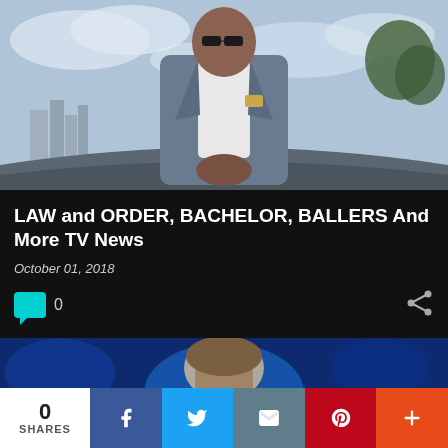[Figure (photo): A muscular man in a grey suit with sunglasses standing in front of a car with city skyline and cloudy sky in background]
LAW and ORDER, BACHELOR, BALLERS And More TV News
October 01, 2018
0
[Figure (photo): Partial view of a person with blue toned background]
0 SHARES